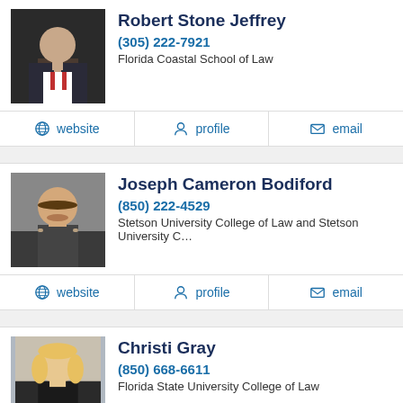Robert Stone Jeffrey
(305) 222-7921
Florida Coastal School of Law
website   profile   email
Joseph Cameron Bodiford
(850) 222-4529
Stetson University College of Law and Stetson University C…
website   profile   email
Christi Gray
(850) 668-6611
Florida State University College of Law
website   profile   email